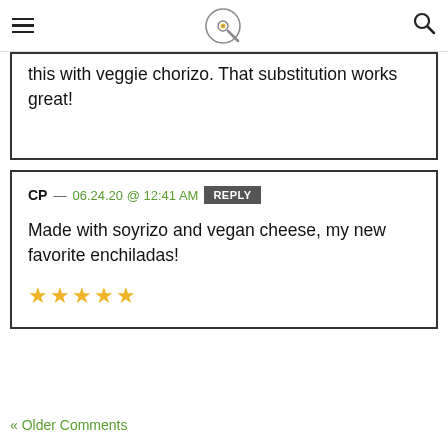Navigation menu | Logo | Search
Per a friend's recommendation, we made this with veggie chorizo. That substitution works great!
CP — 06.24.20 @ 12:41 AM REPLY
Made with soyrizo and vegan cheese, my new favorite enchiladas!
★★★★★
« Older Comments